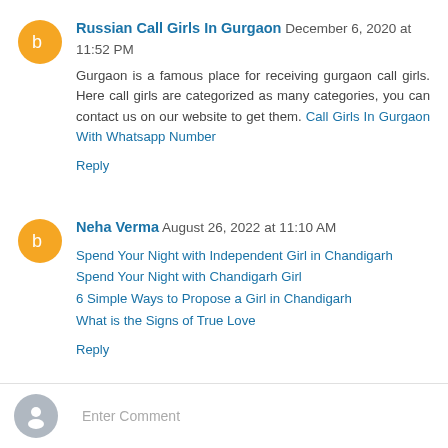Russian Call Girls In Gurgaon December 6, 2020 at 11:52 PM
Gurgaon is a famous place for receiving gurgaon call girls. Here call girls are categorized as many categories, you can contact us on our website to get them. Call Girls In Gurgaon With Whatsapp Number
Reply
Neha Verma August 26, 2022 at 11:10 AM
Spend Your Night with Independent Girl in Chandigarh
Spend Your Night with Chandigarh Girl
6 Simple Ways to Propose a Girl in Chandigarh
What is the Signs of True Love
Reply
Enter Comment